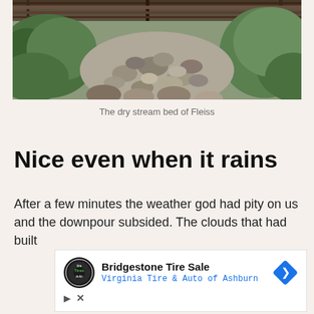[Figure (photo): A dry rocky stream bed seen from a wooden bridge above, with green vegetation on both sides]
The dry stream bed of Fleiss
Nice even when it rains
After a few minutes the weather god had pity on us and the downpour subsided. The clouds that had built
[Figure (other): Advertisement: Bridgestone Tire Sale - Virginia Tire & Auto of Ashburn]